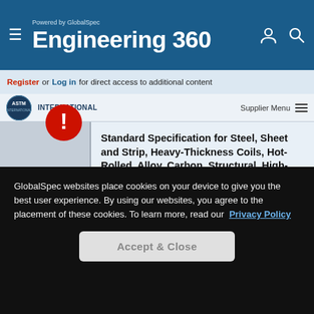Powered by GlobalSpec Engineering 360
Register or Log in for direct access to additional content
ASTM INTERNATIONAL   Supplier Menu
Standard Specification for Steel, Sheet and Strip, Heavy-Thickness Coils, Hot-Rolled, Alloy, Carbon, Structural, High-Strength Low-Alloy, and High-Strength Low-Alloy with Improved Formability, General Requirements for
1.1 This specification covers the general requirements for hot-rolled, heavy-thickness
GlobalSpec websites place cookies on your device to give you the best user experience. By using our websites, you agree to the placement of these cookies. To learn more, read our Privacy Policy
Accept & Close